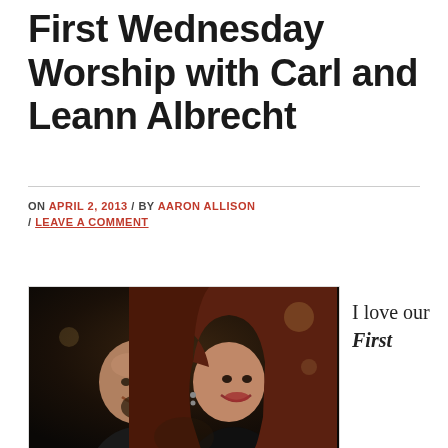First Wednesday Worship with Carl and Leann Albrecht
ON APRIL 2, 2013 / BY AARON ALLISON / LEAVE A COMMENT
[Figure (photo): A smiling couple posed together, man with shaved head and goatee on the left, woman with long brown hair on the right, at what appears to be a restaurant or event.]
I love our First